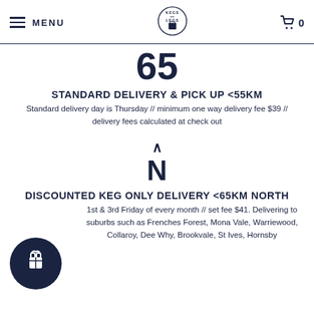MENU | KEGS ON LEGS | 0
65
STANDARD DELIVERY & PICK UP <55KM
Standard delivery day is Thursday // minimum one way delivery fee $39 // delivery fees calculated at check out
[Figure (illustration): North direction icon showing caret above letter N]
DISCOUNTED KEG ONLY DELIVERY <65KM NORTH
1st & 3rd Friday of every month // set fee $41. Delivering to suburbs such as Frenches Forest, Mona Vale, Warriewood, Collaroy, Dee Why, Brookvale, St Ives, Hornsby
[Figure (illustration): Gift icon button circle]
V